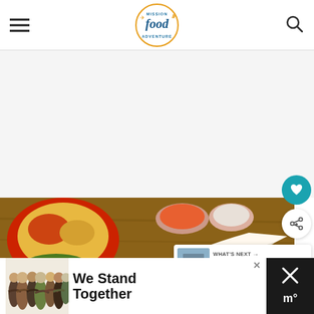Mission Food Adventure — navigation header with hamburger menu, logo, and search icon
[Figure (screenshot): White/light gray blank content area below header, serving as main page body placeholder]
[Figure (photo): Close-up food photo showing a burrito/wrap with jalapeños, olives, and toppings, alongside small bowls of salsa on a wooden table]
[Figure (infographic): Teal circular heart/save button overlaying the food image]
[Figure (infographic): White circular share button with plus icon overlaying the food image]
[Figure (screenshot): What's Next card showing thumbnail of Walt Disney World: Keys ... article]
[Figure (screenshot): Advertisement banner at bottom: We Stand Together with group of people photo and X close button]